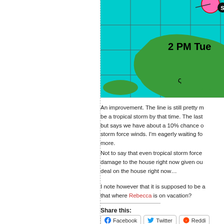[Figure (map): Tropical storm track map showing Caribbean region with '2 PM Tue' label, green landmasses on cyan/teal ocean background with grid lines and storm tracking markers]
An improvement. The line is still pretty m... be a tropical storm by that time. The last... but says we have about a 10% chance o... storm force winds. I'm eagerly waiting for... more.
Not to say that even tropical storm force... damage to the house right now given our... deal on the house right now…
I note however that it is supposed to be a... that where Rebecca is on vacation?
Share this:
Facebook  Twitter  Reddit
Posted by Abulsme -- Monday 28 Augus... Category: Personal | Leave a comment